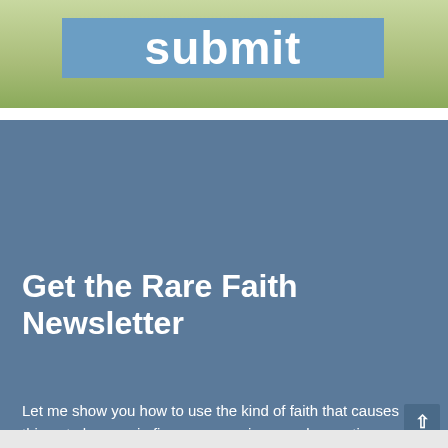[Figure (screenshot): Top portion of a webpage showing a blue submit button over a green nature background image]
Get the Rare Faith Newsletter
Let me show you how to use the kind of faith that causes things to happen in finances, marriage, and parenting.
You'll receive a weekly Newsletter, Podcast, and monthly Digest with fresh articles, special offers, and more! Serving over 50,000 subscribers since 2002, but don't worry – It's easy to cancel at any time with just one click.